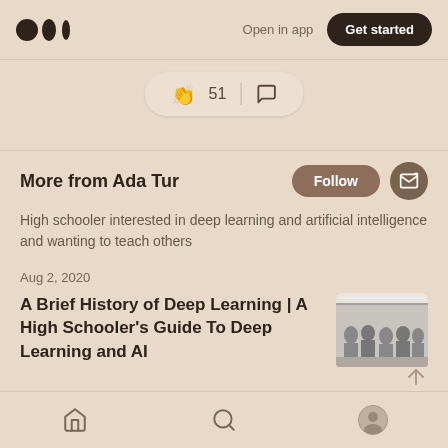Medium logo | Open in app | Get started
[Figure (infographic): Clapping reaction with count 51 and comment icon in a pill-shaped container]
More from Ada Tur
High schooler interested in deep learning and artificial intelligence and wanting to teach others
Aug 2, 2020
A Brief History of Deep Learning | A High Schooler's Guide To Deep Learning and AI
[Figure (photo): Black and white group photo of people]
Home | Search | Profile navigation icons